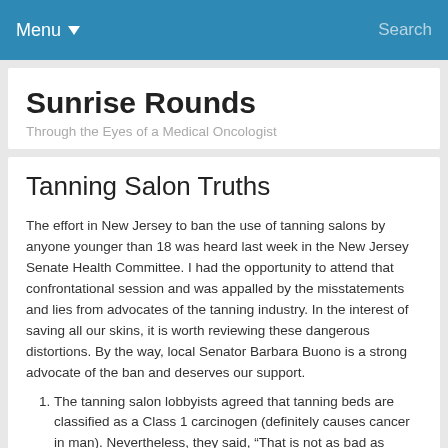Menu   Search
Sunrise Rounds
Through the Eyes of a Medical Oncologist
Tanning Salon Truths
The effort in New Jersey to ban the use of tanning salons by anyone younger than 18 was heard last week in the New Jersey Senate Health Committee.  I had the opportunity to attend that confrontational session and was appalled by the misstatements and lies from advocates of the tanning industry.   In the interest of saving all our skins, it is worth reviewing these dangerous distortions.  By the way, local Senator Barbara Buono is a strong advocate of the ban and deserves our support.
The tanning salon lobbyists agreed that tanning beds are classified as a Class 1 carcinogen (definitely causes cancer in man).  Nevertheless, they said, "That is not as bad as